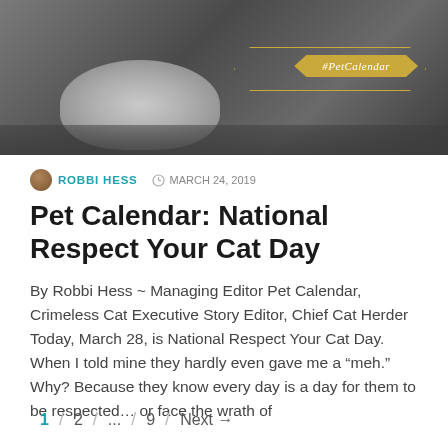[Figure (photo): Hero image of a cat on a dark surface with a gold ribbon banner reading #PetCalendar]
ROBBI HESS   MARCH 24, 2019
Pet Calendar: National Respect Your Cat Day
By Robbi Hess ~ Managing Editor Pet Calendar, Crimeless Cat Executive Story Editor, Chief Cat Herder  Today, March 28, is National Respect Your Cat Day. When I told mine they hardly even gave me a “meh.” Why? Because they know every day is a day for them to be respected… or face the wrath of
1 / 2 / ... / 9 / Next →